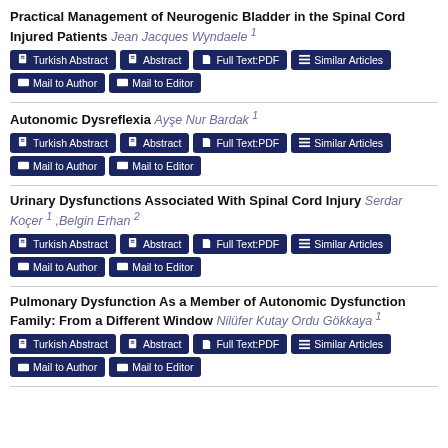Practical Management of Neurogenic Bladder in the Spinal Cord Injured Patients Jean Jacques Wyndaele 1
Turkish Abstract | Abstract | Full Text:PDF | Similar Articles | Mail to Author | Mail to Editor
Autonomic Dysreflexia Ayşe Nur Bardak 1
Turkish Abstract | Abstract | Full Text:PDF | Similar Articles | Mail to Author | Mail to Editor
Urinary Dysfunctions Associated With Spinal Cord Injury Serdar Koçer 1 ,Belgin Erhan 2
Turkish Abstract | Abstract | Full Text:PDF | Similar Articles | Mail to Author | Mail to Editor
Pulmonary Dysfunction As a Member of Autonomic Dysfunction Family: From a Different Window Nilüfer Kutay Ordu Gökkaya 1
Turkish Abstract | Abstract | Full Text:PDF | Similar Articles | Mail to Author | Mail to Editor